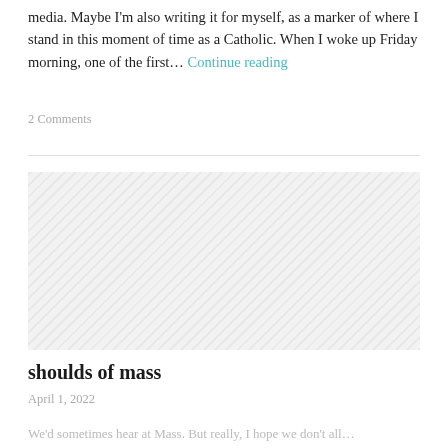media. Maybe I'm also writing it for myself, as a marker of where I stand in this moment of time as a Catholic. When I woke up Friday morning, one of the first… Continue reading
2 Comments
[Figure (other): Gray hatched placeholder image for blog post]
shoulds of mass
April 1, 2022
We'd sometimes hear at Mass. But really, I hope we don't all...